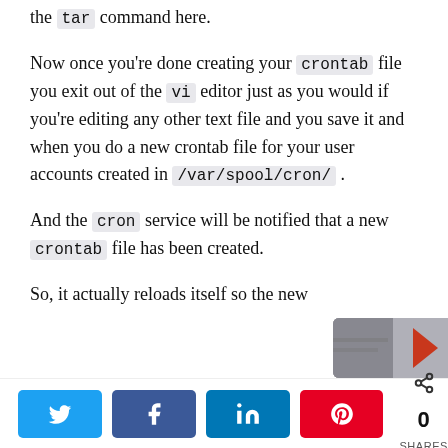the tar command here.
Now once you're done creating your crontab file you exit out of the vi editor just as you would if you're editing any other text file and you save it and when you do a new crontab file for your user accounts created in /var/spool/cron/ .
And the cron service will be notified that a new crontab file has been created.
So, it actually reloads itself so the new
[Figure (other): Partial image visible at bottom right, appears to be a decorative or advertisement image]